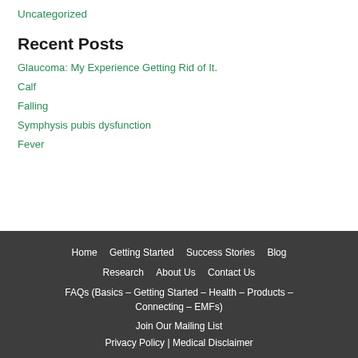Uncategorized
Recent Posts
Glaucoma: My Experience Getting Rid of It.
Calf
Falling
Symphysis pubis dysfunction
Fever
Home   Getting Started   Success Stories   Blog   Research   About Us   Contact Us   FAQs (Basics – Getting Started – Health – Products – Connecting – EMFs)   Join Our Mailing List   Privacy Policy | Medical Disclaimer